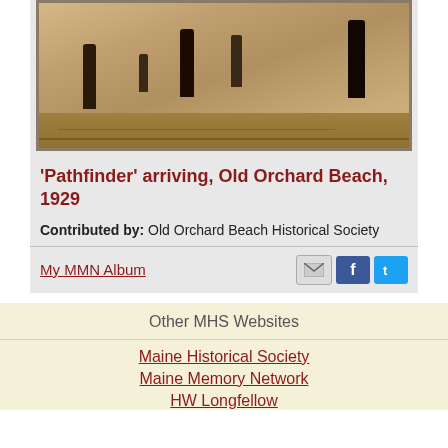[Figure (photo): Sepia-toned historical photograph of people on a beach, likely related to the Pathfinder aircraft arrival at Old Orchard Beach in 1929]
'Pathfinder' arriving, Old Orchard Beach, 1929
Contributed by: Old Orchard Beach Historical Society
My MMN Album
Other MHS Websites
Maine Historical Society
Maine Memory Network
HW Longfellow